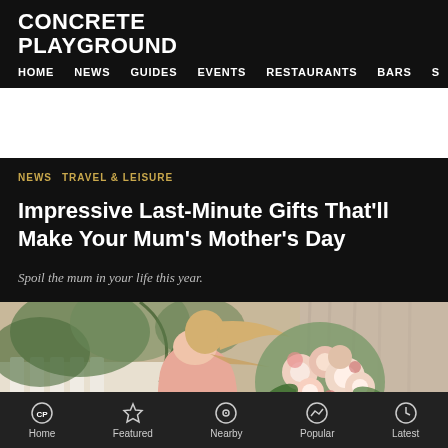CONCRETE PLAYGROUND
HOME  NEWS  GUIDES  EVENTS  RESTAURANTS  BARS  S
NEWS  TRAVEL & LEISURE
Impressive Last-Minute Gifts That'll Make Your Mum's Mother's Day
Spoil the mum in your life this year.
[Figure (photo): Woman in pink top holding a bouquet of pink and white flowers outdoors]
Home  Featured  Nearby  Popular  Latest